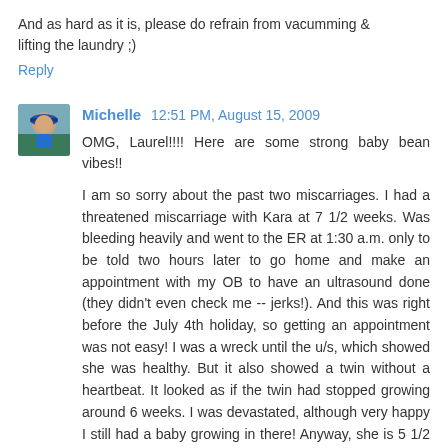And as hard as it is, please do refrain from vacumming & lifting the laundry ;)
Reply
[Figure (photo): Avatar photo of Michelle, a person wearing a blue shirt and hat outdoors]
Michelle  12:51 PM, August 15, 2009
OMG, Laurel!!!! Here are some strong baby bean vibes!!

I am so sorry about the past two miscarriages. I had a threatened miscarriage with Kara at 7 1/2 weeks. Was bleeding heavily and went to the ER at 1:30 a.m. only to be told two hours later to go home and make an appointment with my OB to have an ultrasound done (they didn't even check me -- jerks!). And this was right before the July 4th holiday, so getting an appointment was not easy! I was a wreck until the u/s, which showed she was healthy. But it also showed a twin without a heartbeat. It looked as if the twin had stopped growing around 6 weeks. I was devastated, although very happy I still had a baby growing in there! Anyway, she is 5 1/2 years old now and starting kindergarten on Monday.